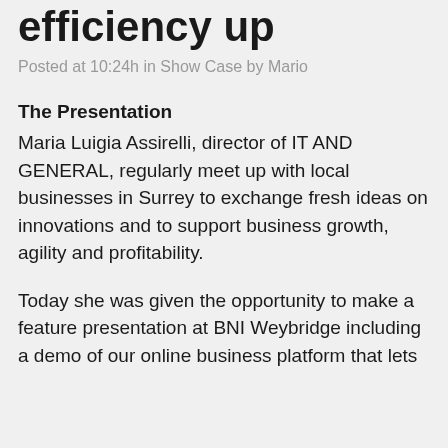efficiency up
Posted at 10:24h in Show Case by Mario
The Presentation
Maria Luigia Assirelli, director of IT AND GENERAL, regularly meet up with local businesses in Surrey to exchange fresh ideas on innovations and to support business growth, agility and profitability.
Today she was given the opportunity to make a feature presentation at BNI Weybridge including a demo of our online business platform that lets